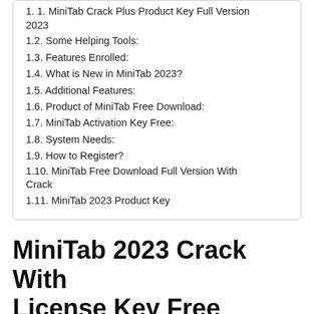1.1. MiniTab Crack Plus Product Key Full Version 2023
1.2. Some Helping Tools:
1.3. Features Enrolled:
1.4. What is New in MiniTab 2023?
1.5. Additional Features:
1.6. Product of MiniTab Free Download:
1.7. MiniTab Activation Key Free:
1.8. System Needs:
1.9. How to Register?
1.10. MiniTab Free Download Full Version With Crack
1.11. MiniTab 2023 Product Key
MiniTab 2023 Crack With License Key Free Download [Mac]